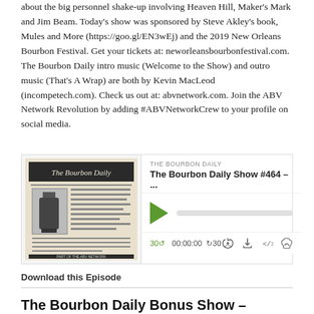about the big personnel shake-up involving Heaven Hill, Maker's Mark and Jim Beam. Today's show was sponsored by Steve Akley's book, Mules and More (https://goo.gl/EN3wEj) and the 2019 New Orleans Bourbon Festival. Get your tickets at: neworleansbourbonfestival.com. The Bourbon Daily intro music (Welcome to the Show) and outro music (That's A Wrap) are both by Kevin MacLeod (incompetech.com). Check us out at: abvnetwork.com. Join the ABV Network Revolution by adding #ABVNetworkCrew to your profile on social media.
[Figure (screenshot): Embedded podcast player for The Bourbon Daily Show #464. Shows newspaper logo thumbnail on left, play button, progress bar, time controls (30 back, 00:00:00, 30 forward), and icons for RSS, download, embed, and headphones.]
Download this Episode
The Bourbon Daily Bonus Show – Interview...
Oct 24, 2018
Steve talks to Casey Davidson about his company (toadfishoutfitters.com) and their unique partnership with Pappy & Co. to make an oyster knife with a handle made of used bourbon barrel staves from Pappy Van Winkle bourbon. You can buy yours here: https://goo.gl/vrdqfx. Today's show was sponsored by